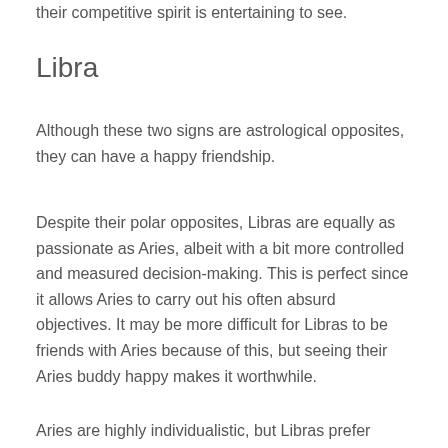their competitive spirit is entertaining to see.
Libra
Although these two signs are astrological opposites, they can have a happy friendship.
Despite their polar opposites, Libras are equally as passionate as Aries, albeit with a bit more controlled and measured decision-making. This is perfect since it allows Aries to carry out his often absurd objectives. It may be more difficult for Libras to be friends with Aries because of this, but seeing their Aries buddy happy makes it worthwhile.
Aries are highly individualistic, but Libras prefer